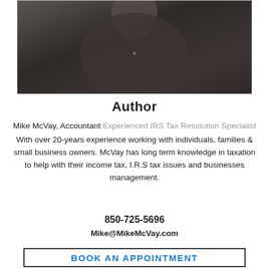[Figure (photo): Professional headshot photo of Mike McVay, an accountant, shown from approximately chest up, wearing a dark ribbed/corduroy jacket, against a dark background.]
Author
Mike McVay, Accountant Experienced IRS Tax Resolution Specialist
With over 20-years experience working with individuals, families & small business owners. McVay has long term knowledge in taxation to help with their income tax, I.R.S tax issues and businesses management.
850-725-5696
Mike@MikeMcVay.com
BOOK AN APPOINTMENT